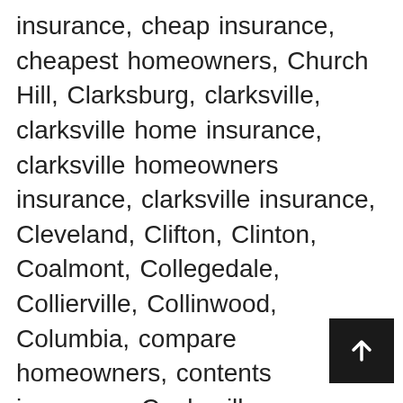insurance, cheap insurance, cheapest homeowners, Church Hill, Clarksburg, clarksville, clarksville home insurance, clarksville homeowners insurance, clarksville insurance, Cleveland, Clifton, Clinton, Coalmont, Collegedale, Collierville, Collinwood, Columbia, compare homeowners, contents insurance, Cookeville, Copperhill, Cornersville, Cottage Grove, Covington, Cowan, Crab Orchard, Cross Plains, Crossville, Crump, Cumberland City, Cumberland Gap, Dandridge, Dayton, De... Decaturville, Decherd, Dickson, direct